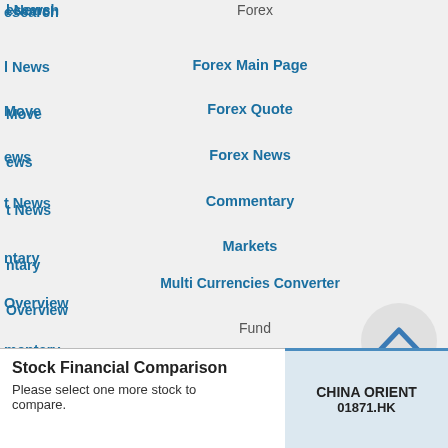esearch
Forex
l News
Forex Main Page
Move
Forex Quote
ews
Forex News
t News
Commentary
Markets
ntary
Multi Currencies Converter
Overview
Fund
mentary
Funds Main Page
Commentary
Fund Quote
mentary
Fund News
mentary
Commentary
rch
Tools
nts
MPF
ain Page
Stock Financial Comparison
Please select one more stock to compare.
CHINA ORIENT
01871.HK